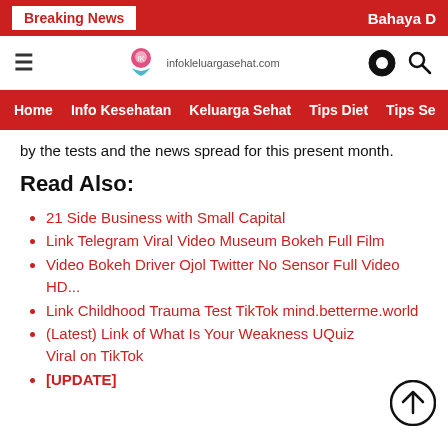Breaking News | Bahaya D
[Figure (logo): infokleluargasehat.com website logo with pink/red icon]
Home | Info Kesehatan | Keluarga Sehat | Tips Diet | Tips Se...
by the tests and the news spread for this present month.
Read Also:
21 Side Business with Small Capital
Link Telegram Viral Video Museum Bokeh Full Film
Video Bokeh Driver Ojol Twitter No Sensor Full Video HD...
Link Childhood Trauma Test TikTok mind.betterme.world
(Latest) Link of What Is Your Weakness UQuiz Viral on TikTok
[UPDATE] ...